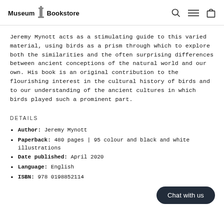Museum Bookstore
Jeremy Mynott acts as a stimulating guide to this varied material, using birds as a prism through which to explore both the similarities and the often surprising differences between ancient conceptions of the natural world and our own. His book is an original contribution to the flourishing interest in the cultural history of birds and to our understanding of the ancient cultures in which birds played such a prominent part.
DETAILS
Author: Jeremy Mynott
Paperback: 480 pages | 95 colour and black and white illustrations
Date published: April 2020
Language: English
ISBN: 978 0198852114